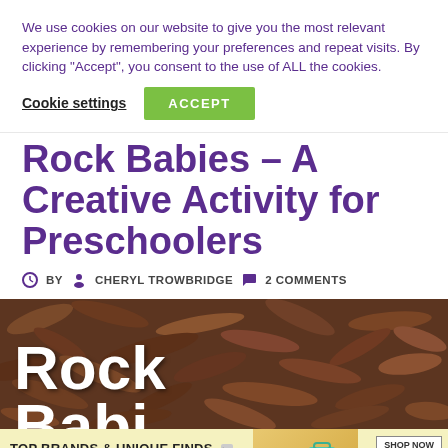We use cookies on our website to give you the most relevant experience by remembering your preferences and repeat visits. By clicking “Accept”, you consent to the use of ALL the cookies.
Cookie settings  ACCEPT
Rock Babies – A Creative Activity for Preschoolers
BY CHERYL TROWBRIDGE  2 COMMENTS
[Figure (photo): Bark mulch/wood chip ground cover with large white overlaid text reading 'Rock Babies']
[Figure (infographic): Advertisement banner: TOP BRANDS & UNIQUE FINDS, Daily deals up to 70% off, with product images and Zulily branding]